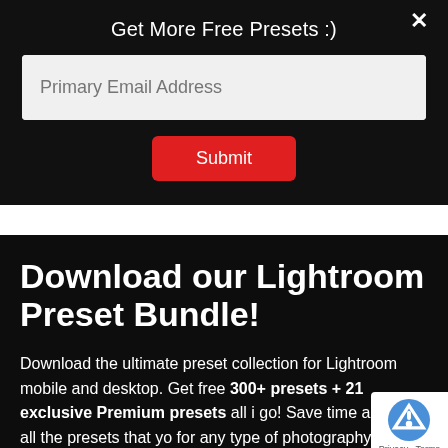Get More Free Presets :)
Primary Email Address
Submit
Download our Lightroom Preset Bundle!
Download the ultimate preset collection for Lightroom mobile and desktop. Get free 300+ presets + 21 exclusive Premium presets all i go! Save time and have all the presets that yo for any type of photography.